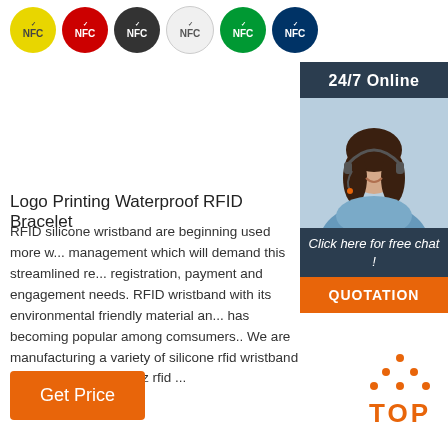[Figure (illustration): Row of six colored NFC dot stickers: yellow, red, black, white, green, navy blue, each with 'NFC' text printed on them]
Logo Printing Waterproof RFID Bracelet
RFID silicone wristband are beginning used more w... management which will demand this streamlined re... registration, payment and engagement needs. RFID wristband with its environmental friendly material an... has becoming popular among comsumers.. We are manufacturing a variety of silicone rfid wristband which including 125khz rfid ...
[Figure (infographic): 24/7 Online chat widget with agent photo, 'Click here for free chat!' text, and orange QUOTATION button]
[Figure (illustration): Orange TOP button with dot triangle above the word TOP]
[Figure (illustration): Orange 'Get Price' button]